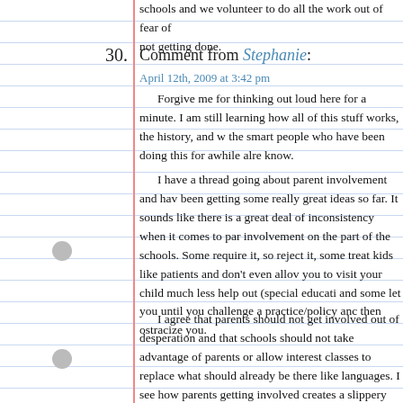schools and we volunteer to do all the work out of fear of not getting done.
Comment from Stephanie: April 12th, 2009 at 3:42 pm
Forgive me for thinking out loud here for a minute. I am still learning how all of this stuff works, the history, and where the smart people who have been doing this for awhile already know.
I have a thread going about parent involvement and have been getting some really great ideas so far. It sounds like there is a great deal of inconsistency when it comes to parent involvement on the part of the schools. Some require it, some reject it, some treat kids like patients and don’t even allow you to visit your child much less help out (special education) and some let you until you challenge a practice/policy and then ostracize you.
I agree that parents should not get involved out of desperation and that schools should not take advantage of parents or allow interest classes to replace what should already be there like languages. I see how parents getting involved creates a slippery slope and as Steve said an “existential threat”. Most definitely yes I also agree with Peter that we need a comprehensive list of course offerings each and every school like yesterday!!